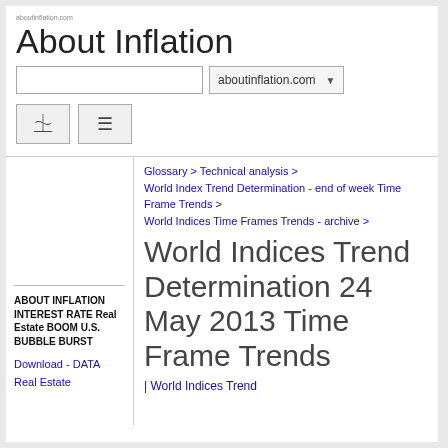aboutinflation.com
About Inflation
Search box and domain selector: aboutinflation.com
Navigation buttons
Glossary > Technical analysis > World Index Trend Determination - end of week Time Frame Trends > World Indices Time Frames Trends - archive >
World Indices Trend Determination 24 May 2013 Time Frame Trends
ABOUT INFLATION INTEREST RATE Real Estate BOOM U.S. BUBBLE BURST
Download - DATA
Real Estate
| World Indices Trend